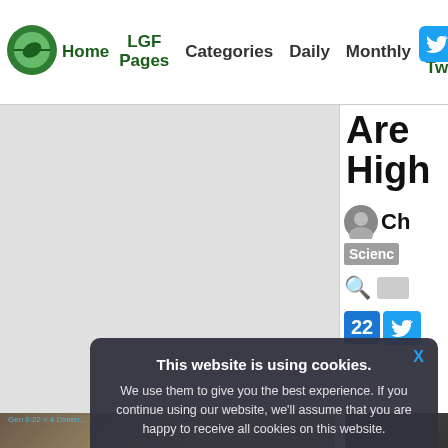Home | LGF Pages | Categories | Daily | Monthly | Twitter
[Figure (screenshot): Gray placeholder content area for main article]
[Figure (screenshot): Partial right sidebar showing article title 'Are High...' with avatar, Science badge, search/mail icons, share count 22 and Twitter button]
[Figure (photo): Photo of books/cards on a table with floral tablecloth - bottom left]
[Figure (photo): Partial photo on the bottom right]
This website is using cookies. We use them to give you the best experience. If you continue using our website, we'll assume that you are happy to receive all cookies on this website.
Continue   Learn more